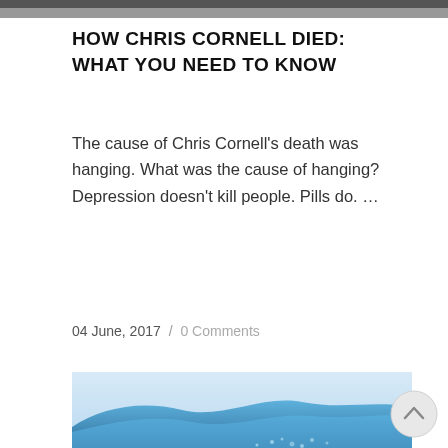[Figure (photo): Partial top strip of a dark greyscale photo, cropped at top of page]
HOW CHRIS CORNELL DIED: WHAT YOU NEED TO KNOW
The cause of Chris Cornell's death was hanging. What was the cause of hanging? Depression doesn't kill people. Pills do. …
04 June, 2017 / 0 Comments
[Figure (photo): Photo of water wave/splash with blue tones and water droplets, cropped at bottom of page]